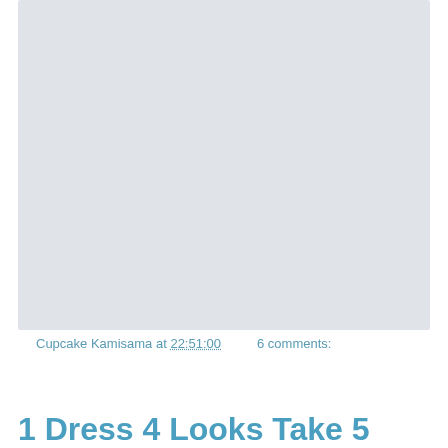[Figure (photo): Large placeholder image area with light gray background]
Cupcake Kamisama at 22:51:00    6 comments:
Share
24 Aug 2016
1 Dress 4 Looks Take 5